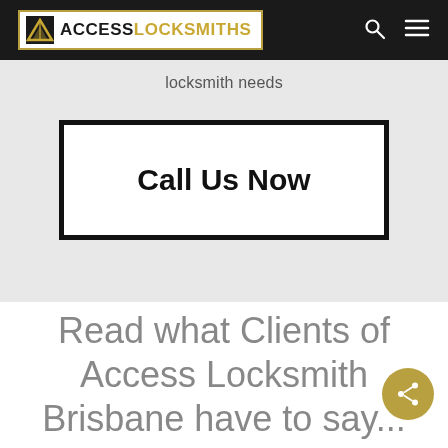ACCESS LOCKSMITHS
locksmith needs
Call Us Now
Read what Clients of Access Locksmith Brisbane have to say...